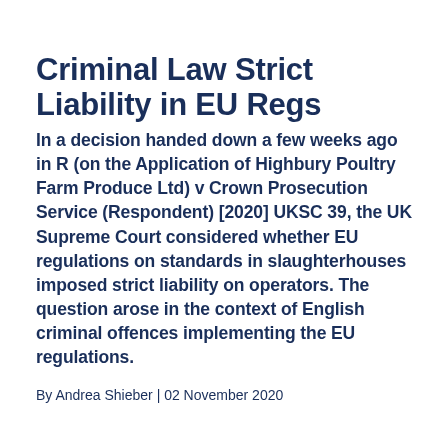Criminal Law Strict Liability in EU Regs
In a decision handed down a few weeks ago in R (on the Application of Highbury Poultry Farm Produce Ltd) v Crown Prosecution Service (Respondent) [2020] UKSC 39, the UK Supreme Court considered whether EU regulations on standards in slaughterhouses imposed strict liability on operators. The question arose in the context of English criminal offences implementing the EU regulations.
By Andrea Shieber | 02 November 2020